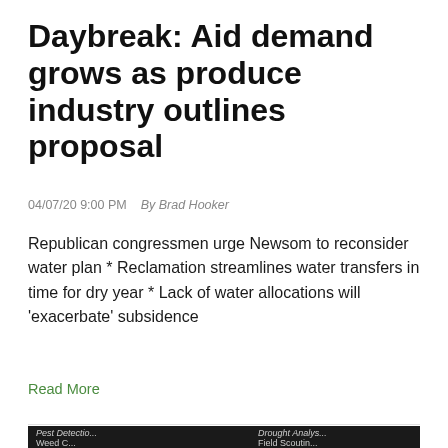Daybreak: Aid demand grows as produce industry outlines proposal
04/07/20 9:00 PM   By Brad Hooker
Republican congressmen urge Newsom to reconsider water plan * Reclamation streamlines water transfers in time for dry year * Lack of water allocations will 'exacerbate' subsidence
Read More
[Figure (photo): Photo of three people at a conference or event with banners visible in background reading 'Pest Detection', 'Drought Analysis', 'Weed C...', 'Field Scouting'. Two men and a woman visible.]